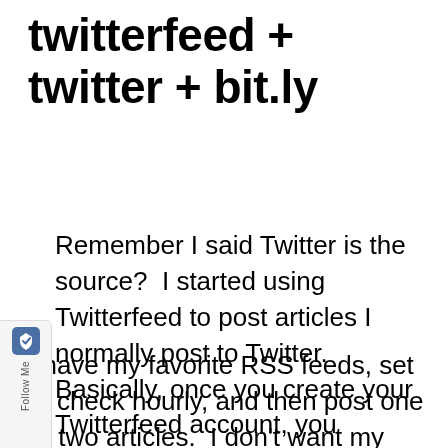twitterfeed + twitter + bit.ly
Remember I said Twitter is the source?  I started using Twitterfeed to post articles I normally post to Twitter.  Basically, once you create your Twitterfeed account, you subscribe RSS feeds.  Then if you are willing to try to look the advanced features, you can really do some cool things.
I have my favorite RSS feeds, set to check hourly, and then post one or two articles.  I don't want my followers/readers to get burdened with